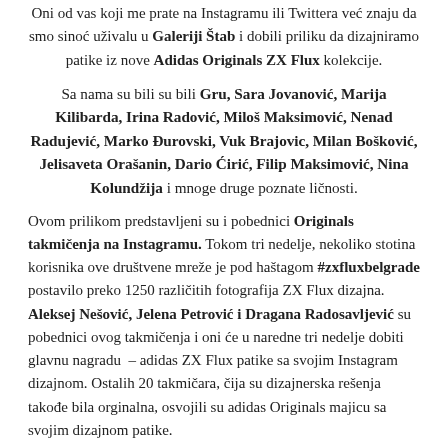Oni od vas koji me prate na Instagramu ili Twittera već znaju da smo sinoć uživalu u Galeriji Štab i dobili priliku da dizajniramo patike iz nove Adidas Originals ZX Flux kolekcije.
Sa nama su bili su bili Gru, Sara Jovanović, Marija Kilibarda, Irina Radović, Miloš Maksimović, Nenad Radujević, Marko Đurovski, Vuk Brajovic, Milan Bošković, Jelisaveta Orašanin, Dario Ćirić, Filip Maksimović, Nina Kolundžija i mnoge druge poznate ličnosti.
Ovom prilikom predstavljeni su i pobednici Originals takmičenja na Instagramu. Tokom tri nedelje, nekoliko stotina korisnika ove društvene mreže je pod haštagom #zxfluxbelgrade postavilo preko 1250 različitih fotografija ZX Flux dizajna. Aleksej Nešović, Jelena Petrović i Dragana Radosavljević su pobednici ovog takmičenja i oni će u naredne tri nedelje dobiti glavnu nagradu – adidas ZX Flux patike sa svojim Instagram dizajnom. Ostalih 20 takmičara, čija su dizajnerska rešenja takođe bila orginalna, osvojili su adidas Originals majicu sa svojim dizajnom patike.